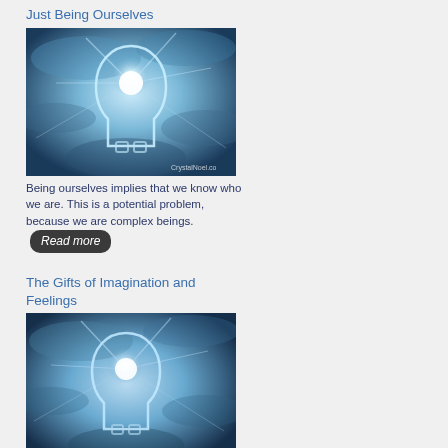Just Being Ourselves
[Figure (illustration): Glowing human head silhouette with bright light at center against blue cloudy background, watermark CrystalNoel.co]
Being ourselves implies that we know who we are. This is a potential problem, because we are complex beings.
The Gifts of Imagination and Feelings
[Figure (illustration): Glowing human head silhouette with bright light at center against blue cloudy background, watermark CrystalNoel.co]